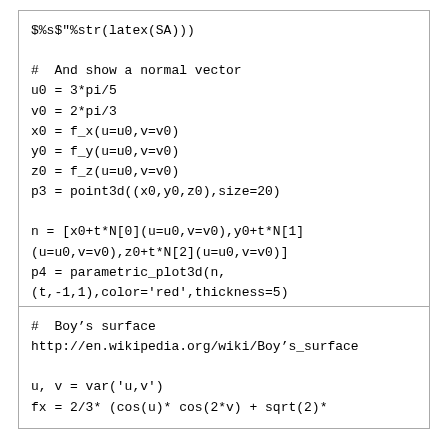$%s$"%str(latex(SA)))

#  And show a normal vector
u0 = 3*pi/5
v0 = 2*pi/3
x0 = f_x(u=u0,v=v0)
y0 = f_y(u=u0,v=v0)
z0 = f_z(u=u0,v=v0)
p3 = point3d((x0,y0,z0),size=20)

n = [x0+t*N[0](u=u0,v=v0),y0+t*N[1]
(u=u0,v=v0),z0+t*N[2](u=u0,v=v0)]
p4 = parametric_plot3d(n,
(t,-1,1),color='red',thickness=5)

(p1 + p3 + p4 ).show(aspect_ratio=True)
#  Boy’s surface
http://en.wikipedia.org/wiki/Boy’s_surface

u, v = var('u,v')
fx = 2/3* (cos(u)* cos(2*v) + sqrt(2)*